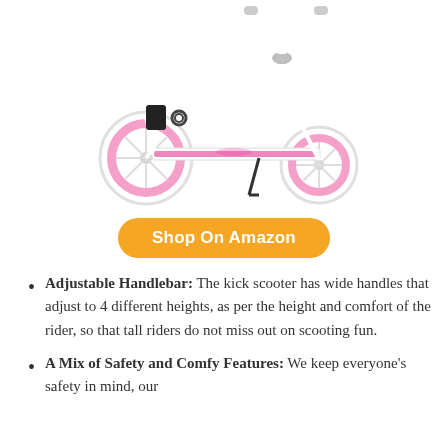[Figure (photo): White and pink kick scooter with large pink wheels, adjustable handlebar, and a black foot platform, photographed on white background]
Shop On Amazon
Adjustable Handlebar: The kick scooter has wide handles that adjust to 4 different heights, as per the height and comfort of the rider, so that tall riders do not miss out on scooting fun.
A Mix of Safety and Comfy Features: We keep everyone's safety in mind, our